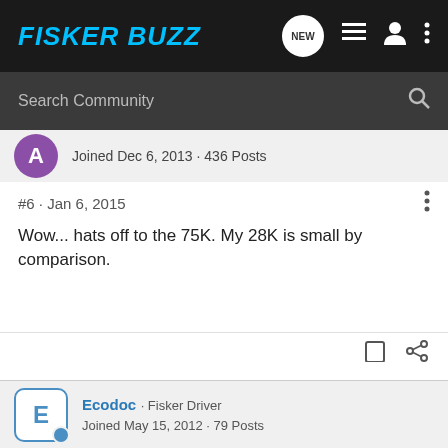FISKER BUZZ
Search Community
Joined Dec 6, 2013 · 436 Posts
#6 · Jan 6, 2015
Wow... hats off to the 75K. My 28K is small by comparison.
Ecodoc · Fisker Driver
Joined May 15, 2012 · 79 Posts